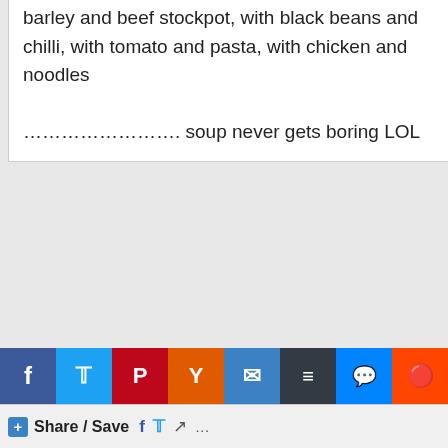barley and beef stockpot, with black beans and chilli, with tomato and pasta, with chicken and noodles
……………………. soup never gets boring LOL
[Figure (photo): Avatar photo of cass@frugalfamily, a woman with reddish-brown hair]
cass@frugalfamily says
January 27, 2013 at 3:32 pm
I know I replied to this the other day but it seems to have dissapeared!!

In case you never got my reply, I said …and to … s… …te a post with all your soup ideas – not even the full recipe, just ideas of the
[Figure (infographic): Social sharing bar with Facebook, Twitter, Pinterest, Yummly, Email, Buffer, Messenger, Reddit icons and Share/Save button]